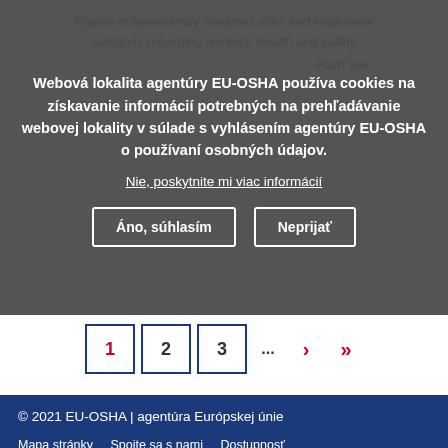France independently analyses risks and implement solutions regarding workers' health and safety
Webová lokalita agentúry EU-OSHA používa cookies na získavanie informácií potrebných na prehľadávanie webovej lokality v súlade s vyhlásením agentúry EU-OSHA o používaní osobných údajov.
Nie, poskytnite mi viac informácií
Rozri viac →
Áno, súhlasím
Neprijať
1 2 3 ... › »
© 2021 EU-OSHA | agentúra Európskej únie
Mapa stránky   Spojte sa s nami   Dostupnosť
Data Protection   Ochrana osobných údajov   Cookies
Právna poznámka   RSS